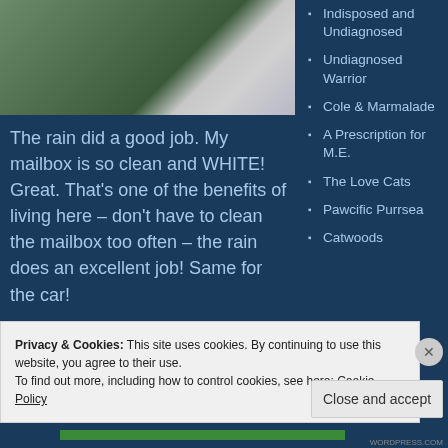[Figure (photo): Photo of a white mailbox on green grass]
The rain did a good job.  My mailbox is so clean and WHITE!  Great.  That's one of the benefits of living here – don't have to clean the mailbox too often – the rain does an excellent job!  Same for the car!
Indisposed and Undiagnosed
Undiagnosed Warrior
Cole & Marmalade
A Prescription for M.E.
The Love Cats
Pawcific Purrsea
Catwoods
Privacy & Cookies: This site uses cookies. By continuing to use this website, you agree to their use.
To find out more, including how to control cookies, see here: Cookie Policy